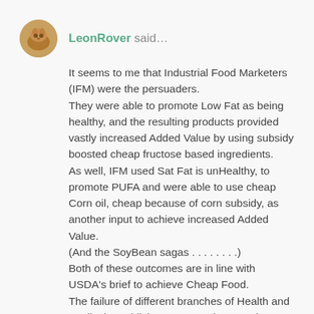LeonRover said…
It seems to me that Industrial Food Marketers (IFM) were the persuaders.
They were able to promote Low Fat as being healthy, and the resulting products provided vastly increased Added Value by using subsidy boosted cheap fructose based ingredients.
As well, IFM used Sat Fat is unHealthy, to promote PUFA and were able to use cheap Corn oil, cheap because of corn subsidy, as another input to achieve increased Added Value.
(And the SoyBean sagas . . . . . . . .)
Both of these outcomes are in line with USDA's brief to achieve Cheap Food.
The failure of different branches of Health and Medical Establishments to revise any views they OUGHT to have had in the light of actual outcomes demonstrated time after time, has